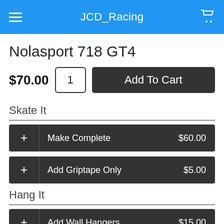JCD_Racing
Nolasport 718 GT4
$70.00  1  Add To Cart
Skate It
+ Make Complete $60.00
+ Add Griptape Only $5.00
Hang It
+ Add Wall Hangers $15.00